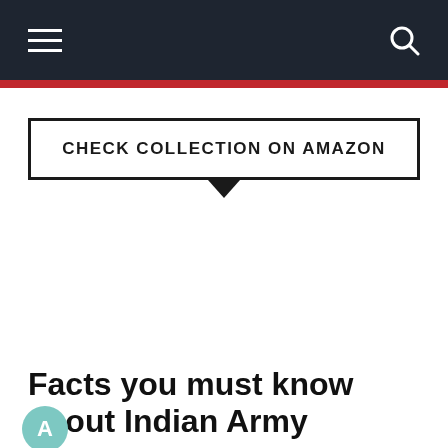CHECK COLLECTION ON AMAZON
Facts you must know about Indian Army